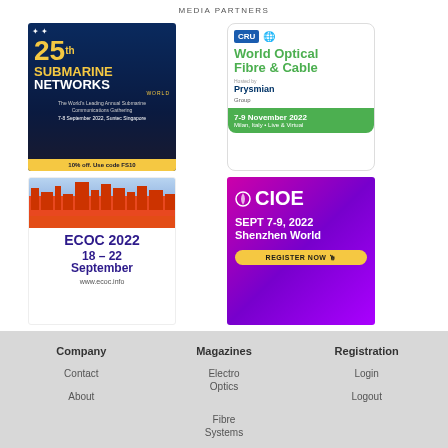MEDIA PARTNERS
[Figure (illustration): Advertisement: 25th Submarine Networks World. 7-8 September 2022, Suntec Singapore. 10% off. Use code FS10.]
[Figure (illustration): Advertisement: CRU World Optical Fibre & Cable, Hosted by Prysmian Group. 7-9 November 2022, Milan, Italy. Live & Virtual.]
[Figure (illustration): Advertisement: ECOC 2022, 18-22 September. www.ecoc.info]
[Figure (illustration): Advertisement: CIOE, SEPT 7-9, 2022, Shenzhen World. REGISTER NOW.]
Company
Magazines
Registration
Contact
Electro Optics
Login
About
Fibre Systems
Logout